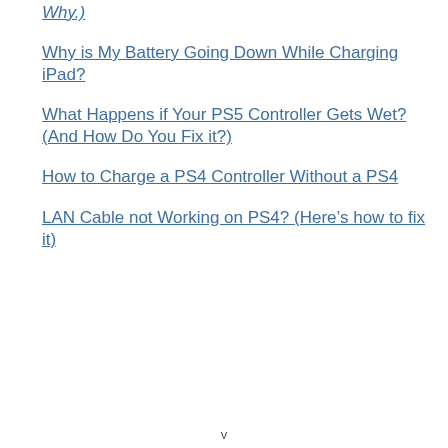Why.)
Why is My Battery Going Down While Charging iPad?
What Happens if Your PS5 Controller Gets Wet? (And How Do You Fix it?)
How to Charge a PS4 Controller Without a PS4
LAN Cable not Working on PS4? (Here's how to fix it)